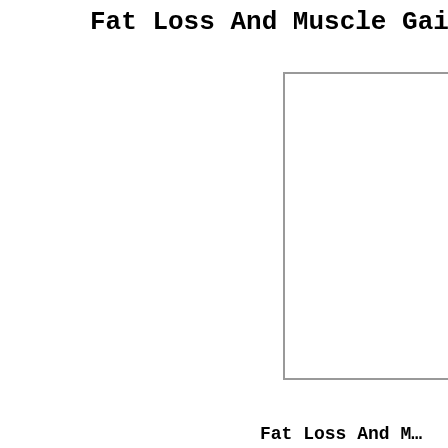Fat Loss And Muscle Gain Pro...
[Figure (other): A large white rectangular box with a gray border, occupying the right-center portion of the page. The box is mostly empty/blank.]
Fat Loss And M...